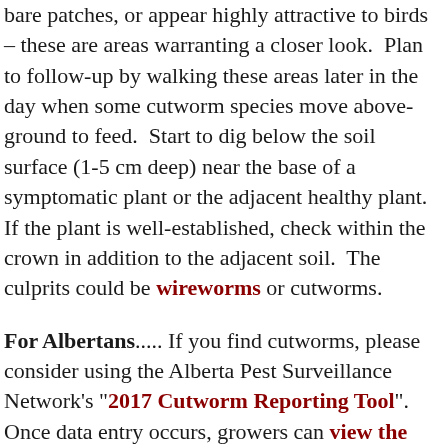bare patches, or appear highly attractive to birds – these are areas warranting a closer look.  Plan to follow-up by walking these areas later in the day when some cutworm species move above-ground to feed.  Start to dig below the soil surface (1-5 cm deep) near the base of a symptomatic plant or the adjacent healthy plant.  If the plant is well-established, check within the crown in addition to the adjacent soil.  The culprits could be wireworms or cutworms.
For Albertans..... If you find cutworms, please consider using the Alberta Pest Surveillance Network's "2017 Cutworm Reporting Tool".  Once data entry occurs, growers can view the live 2017 cutworm map which is updated daily.